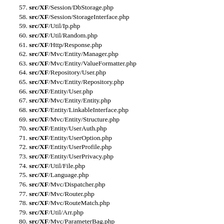57. src/XF/Session/DbStorage.php
58. src/XF/Session/StorageInterface.php
59. src/XF/Util/Ip.php
60. src/XF/Util/Random.php
61. src/XF/Http/Response.php
62. src/XF/Mvc/Entity/Manager.php
63. src/XF/Mvc/Entity/ValueFormatter.php
64. src/XF/Repository/User.php
65. src/XF/Mvc/Entity/Repository.php
66. src/XF/Entity/User.php
67. src/XF/Mvc/Entity/Entity.php
68. src/XF/Entity/LinkableInterface.php
69. src/XF/Mvc/Entity/Structure.php
70. src/XF/Entity/UserAuth.php
71. src/XF/Entity/UserOption.php
72. src/XF/Entity/UserProfile.php
73. src/XF/Entity/UserPrivacy.php
74. src/XF/Util/File.php
75. src/XF/Language.php
76. src/XF/Mvc/Dispatcher.php
77. src/XF/Mvc/Router.php
78. src/XF/Mvc/RouteMatch.php
79. src/XF/Util/Arr.php
80. src/XF/Mvc/ParameterBag.php
81. src/XF/Pub/Controller/Thread.php